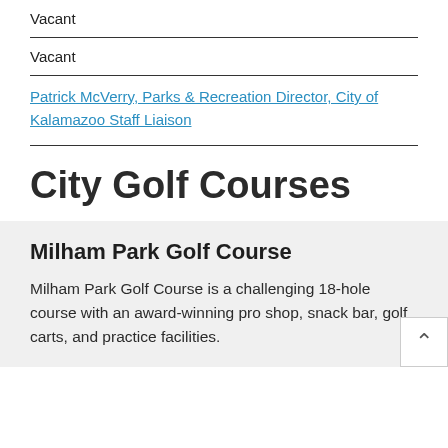Vacant
Vacant
Patrick McVerry, Parks & Recreation Director, City of Kalamazoo Staff Liaison
City Golf Courses
Milham Park Golf Course
Milham Park Golf Course is a challenging 18-hole course with an award-winning pro shop, snack bar, golf carts, and practice facilities.